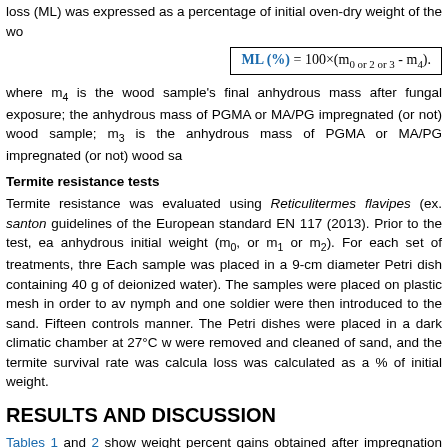loss (ML) was expressed as a percentage of initial oven-dry weight of the wo
where m4 is the wood sample's final anhydrous mass after fungal exposure; the anhydrous mass of PGMA or MA/PG impregnated (or not) wood sample; m3 is the anhydrous mass of PGMA or MA/PG impregnated (or not) wood sa
Termite resistance tests
Termite resistance was evaluated using Reticulitermes flavipes (ex. santon guidelines of the European standard EN 117 (2013). Prior to the test, ea anhydrous initial weight (m0, or m1 or m2). For each set of treatments, thre Each sample was placed in a 9-cm diameter Petri dish containing 40 g of deionized water). The samples were placed on plastic mesh in order to av nymph and one soldier were then introduced to the sand. Fifteen controls manner. The Petri dishes were placed in a dark climatic chamber at 27°C w were removed and cleaned of sand, and the termite survival rate was calcula loss was calculated as a % of initial weight.
RESULTS AND DISCUSSION
Tables 1 and 2 show weight percent gains obtained after impregnation with t as the weight loss caused by thermal modification with or without subsequen
Table 1. Weight change and standard deviation of pine sapwood samples i subjected to heat treatment at differe